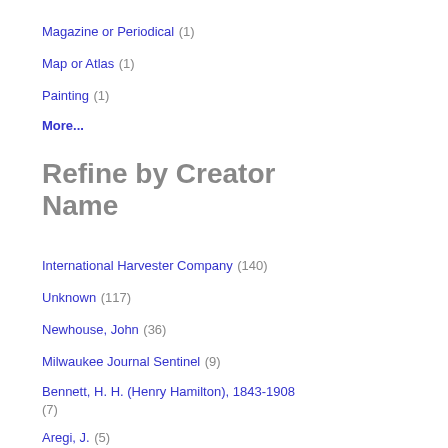Magazine or Periodical (1)
Map or Atlas (1)
Painting (1)
More...
Refine by Creator Name
International Harvester Company (140)
Unknown (117)
Newhouse, John (36)
Milwaukee Journal Sentinel (9)
Bennett, H. H. (Henry Hamilton), 1843-1908 (7)
Aregi, J. (5)